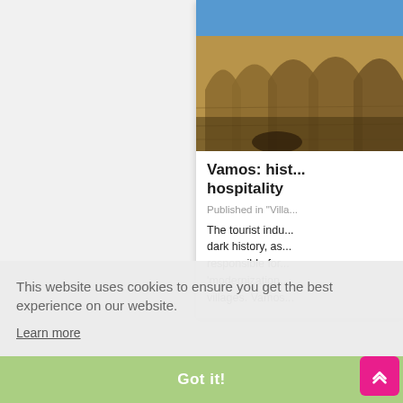[Figure (photo): Photo of ancient stone arched ruins against a blue sky, partially cropped on the right side of the page]
Vamos: hist... hospitality
Published in "Villa...
The tourist indu... dark history, as... responsible for... 'modernization... villages. Vamos...
This website uses cookies to ensure you get the best experience on our website.
Learn more
Got it!